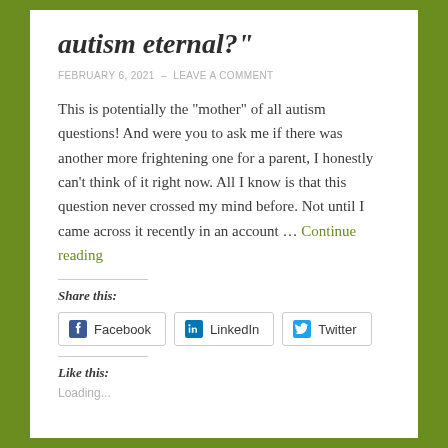autism eternal?"
FEBRUARY 6, 2021  –  LEAVE A COMMENT
This is potentially the "mother" of all autism questions! And were you to ask me if there was another more frightening one for a parent, I honestly can't think of it right now. All I know is that this question never crossed my mind before. Not until I came across it recently in an account … Continue reading
Share this:
Facebook  LinkedIn  Twitter
Like this:
Loading...